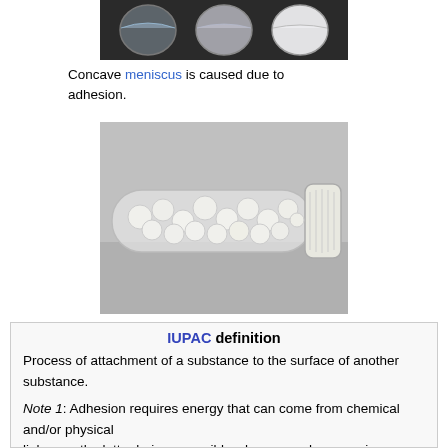[Figure (photo): Three test tubes or vials showing progressively more opaque liquid content — clear, milky, and white — against a dark background.]
Concave meniscus is caused due to adhesion.
[Figure (photo): A horizontal sealed plastic tube or vial containing many small white spherical beads or polymer pellets.]
IUPAC definition
Process of attachment of a substance to the surface of another substance.
Note 1: Adhesion requires energy that can come from chemical and/or physical
linkages, the latter being reversible when enough energy is